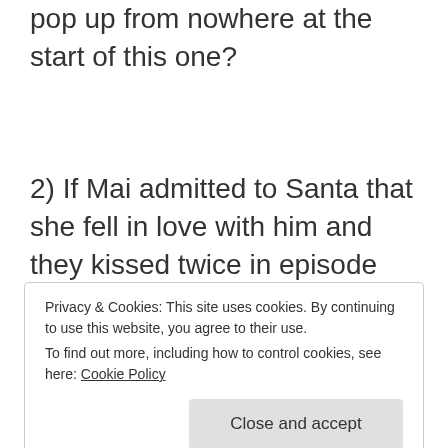pop up from nowhere at the start of this one?
2) If Mai admitted to Santa that she fell in love with him and they kissed twice in episode one, and they've been living together ever since, I find it seriously doubtful that his feelings were never
Privacy & Cookies: This site uses cookies. By continuing to use this website, you agree to their use.
To find out more, including how to control cookies, see here: Cookie Policy
them? I know she's Mai's little sister, but if